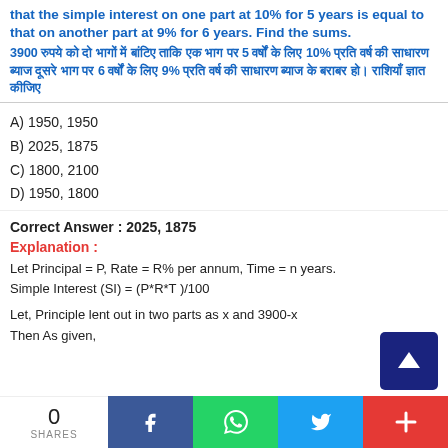that the simple interest on one part at 10% for 5 years is equal to that on another part at 9% for 6 years. Find the sums.
3900 रुपये को दो भागों में बांटिए ताकि एक भाग पर 5 वर्षों के लिए 10% प्रति वर्ष की साधारण ब्याज दूसरे भाग पर 6 वर्षों के लिए 9% प्रति वर्ष की साधारण ब्याज के बराबर हो। राशियाँ ज्ञात कीजिए
A) 1950, 1950
B) 2025, 1875
C) 1800, 2100
D) 1950, 1800
Correct Answer : 2025, 1875
Explanation :
Let Principal = P, Rate = R% per annum, Time = n years.
Simple Interest (SI) = (P*R*T )/100
Let, Principle lent out in two parts as x and 3900-x
Then As given,